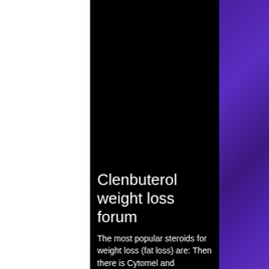Clenbuterol weight loss forum
The most popular steroids for weight loss (fat loss) are: Then there is Cytomel and